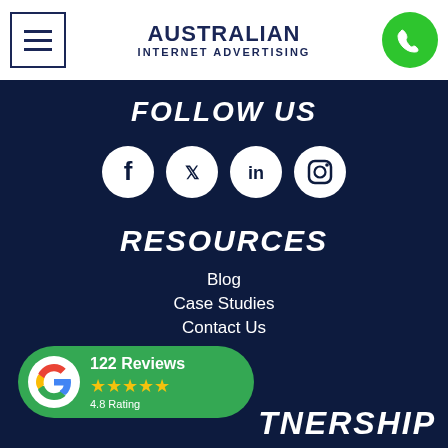Australian Internet Advertising
FOLLOW US
[Figure (infographic): Four social media icons in white circles on dark background: Facebook, Twitter, LinkedIn, Instagram]
RESOURCES
Blog
Case Studies
Contact Us
[Figure (infographic): Google Reviews badge showing 122 Reviews, 4.8 Rating with 5 stars on green background]
TNERSHIP